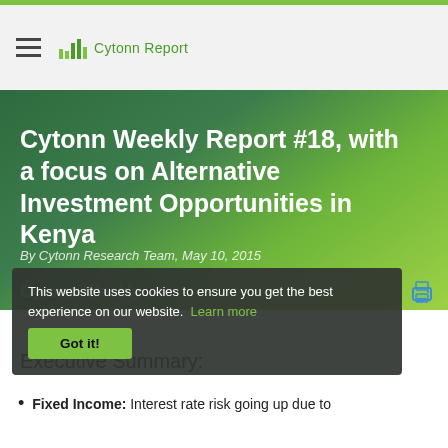Cytonn Report
Cytonn Weekly Report #18, with a focus on Alternative Investment Opportunities in Kenya
By Cytonn Research Team, May 10, 2015
This website uses cookies to ensure you get the best experience on our website. Learn more
Executive Summary:
Fixed Income: Interest rate risk going up due to